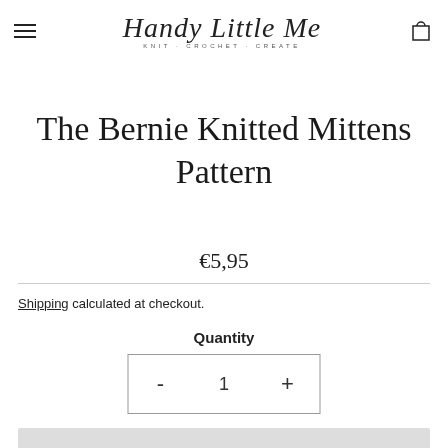Handy Little Me — KNIT · CROCHET · CREATE
The Bernie Knitted Mittens Pattern
€5,95
Shipping calculated at checkout.
Quantity
- 1 +